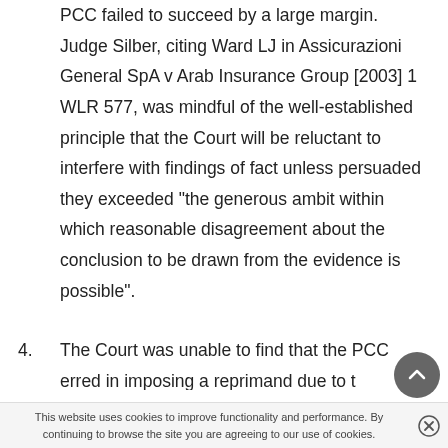PCC failed to succeed by a large margin. Judge Silber, citing Ward LJ in Assicurazioni General SpA v Arab Insurance Group [2003] 1 WLR 577, was mindful of the well-established principle that the Court will be reluctant to interfere with findings of fact unless persuaded they exceeded "the generous ambit within which reasonable disagreement about the conclusion to be drawn from the evidence is possible".
4. The Court was unable to find that the PCC erred in imposing a reprimand due to t…
This website uses cookies to improve functionality and performance. By continuing to browse the site you are agreeing to our use of cookies.